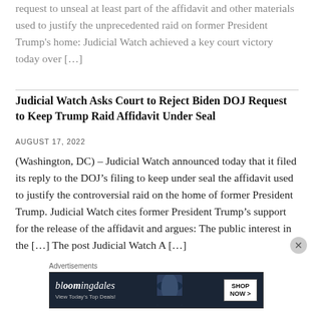request to unseal at least part of the affidavit and other materials used to justify the unprecedented raid on former President Trump's home: Judicial Watch achieved a key court victory today over [...]
Judicial Watch Asks Court to Reject Biden DOJ Request to Keep Trump Raid Affidavit Under Seal
AUGUST 17, 2022
(Washington, DC) – Judicial Watch announced today that it filed its reply to the DOJ's filing to keep under seal the affidavit used to justify the controversial raid on the home of former President Trump. Judicial Watch cites former President Trump's support for the release of the affidavit and argues: The public interest in the [...] The post Judicial Watch A [...]
Advertisements
[Figure (other): Bloomingdale's advertisement banner with dark navy background, script logo, 'View Today's Top Deals!' tagline, woman with wide-brim hat, and 'SHOP NOW >' button]